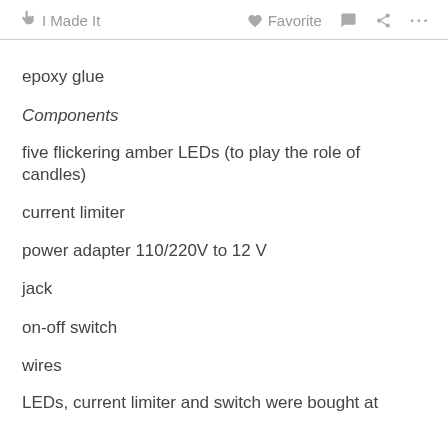I Made It   Favorite
epoxy glue
Components
five flickering amber LEDs (to play the role of candles)
current limiter
power adapter 110/220V to 12 V
jack
on-off switch
wires
LEDs, current limiter and switch were bought at